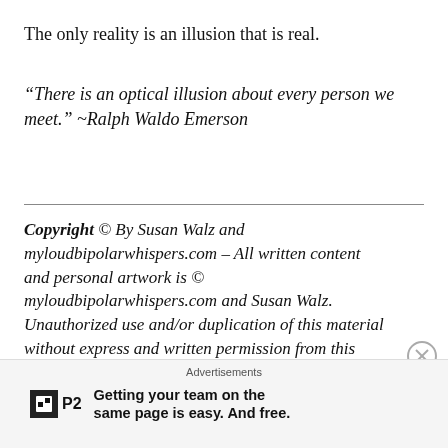The only reality is an illusion that is real.
“There is an optical illusion about every person we meet.” ~Ralph Waldo Emerson
Copyright © By Susan Walz and myloudbipolarwhispers.com – All written content and personal artwork is © myloudbipolarwhispers.com and Susan Walz. Unauthorized use and/or duplication of this material without express and written permission from this blog’s author/owner/artist is strictly prohibited. Excerpts and links may be used,
Advertisements
Getting your team on the same page is easy. And free.